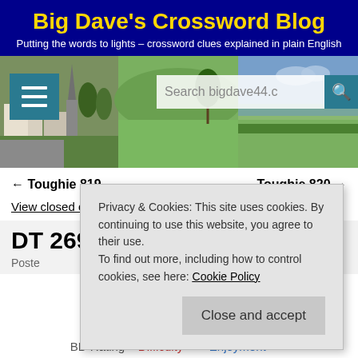Big Dave's Crossword Blog
Putting the words to lights – crossword clues explained in plain English
[Figure (photo): Hero banner with rural English village and countryside landscape photos, hamburger menu button, and search bar]
← Toughie 819    Toughie 820 →
View closed comments ↓
DT 26939
Poste...
Privacy & Cookies: This site uses cookies. By continuing to use this website, you agree to their use. To find out more, including how to control cookies, see here: Cookie Policy
Close and accept
BD Rating – Difficulty ** – Enjoyment ****